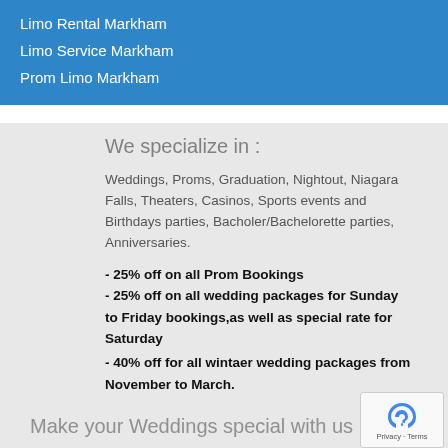Limo Rental Markham
Limo Service Markham
Prom Limo Markham
We specialize in :
Weddings, Proms, Graduation, Nightout, Niagara Falls, Theaters, Casinos, Sports events and Birthdays parties, Bacholer/Bachelorette parties, Anniversaries.
- 25% off on all Prom Bookings
- 25% off on all wedding packages for Sunday to Friday bookings,as well as special rate for Saturday
- 40% off for all wintaer wedding packages from November to March.
Make your Weddings special with us